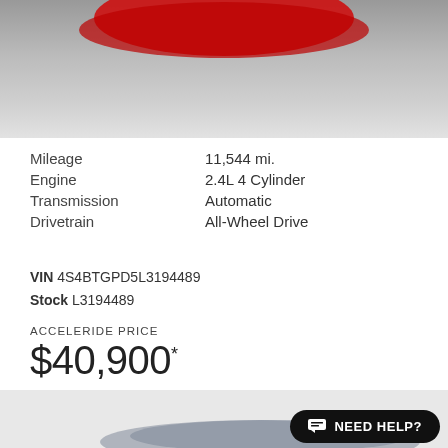[Figure (photo): Partial top view of a red car against a gray gradient background]
| Mileage | 11,544 mi. |
| Engine | 2.4L 4 Cylinder |
| Transmission | Automatic |
| Drivetrain | All-Wheel Drive |
VIN 4S4BTGPD5L3194489
Stock L3194489
ACCELERIDE PRICE
$40,900*
2018 Subaru
Outback 2.5i Limited
[Figure (photo): Partial view of a blue/dark Subaru Outback with a 'NEED HELP?' chat button overlay in the bottom right]